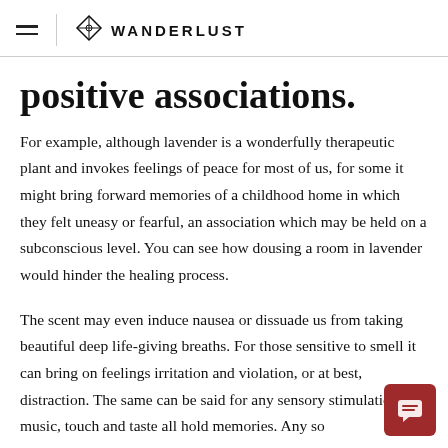WANDERLUST
positive associations.
For example, although lavender is a wonderfully therapeutic plant and invokes feelings of peace for most of us, for some it might bring forward memories of a childhood home in which they felt uneasy or fearful, an association which may be held on a subconscious level. You can see how dousing a room in lavender would hinder the healing process.
The scent may even induce nausea or dissuade us from taking beautiful deep life-giving breaths. For those sensitive to smell it can bring on feelings irritation and violation, or at best, distraction. The same can be said for any sensory stimulation ~ music, touch and taste all hold memories. Any so